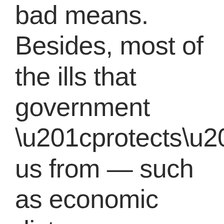bad means. Besides, most of the ills that government “protects” us from — such as economic distress